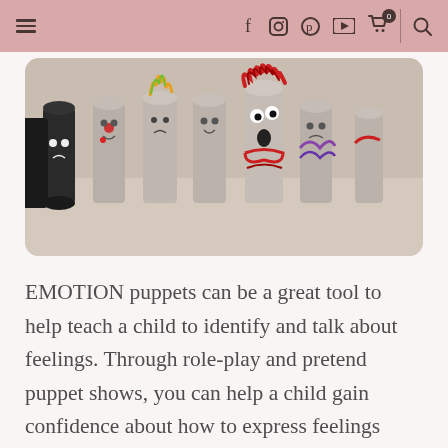≡  f  ⊙  ℗  ▶  🛒 0  🔍
[Figure (photo): Toilet paper roll puppets with hand-drawn emotion faces, decorated with colorful yarn and craft materials, displayed on a wooden surface. The puppets show various expressions representing different emotions.]
EMOTION puppets can be a great tool to help teach a child to identify and talk about feelings. Through role-play and pretend puppet shows, you can help a child gain confidence about how to express feelings and respond to them in an appropriate and healthy way.